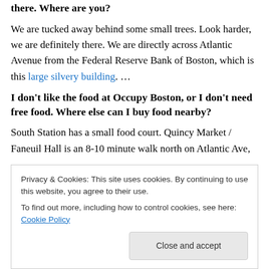there.  Where are you?
We are tucked away behind some small trees. Look harder, we are definitely there.  We are directly across Atlantic Avenue from the Federal Reserve Bank of Boston, which is this large silvery building.  …
I don't like the food at Occupy Boston, or I don't need free food.  Where else can I buy food nearby?
South Station has a small food court.  Quincy Market / Faneuil Hall is an 8-10 minute walk north on Atlantic Ave, and they provide a wide variety of restaurant options.
Privacy & Cookies: This site uses cookies. By continuing to use this website, you agree to their use.
To find out more, including how to control cookies, see here: Cookie Policy